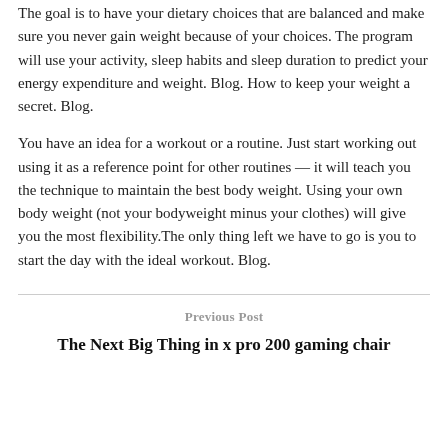The goal is to have your dietary choices that are balanced and make sure you never gain weight because of your choices. The program will use your activity, sleep habits and sleep duration to predict your energy expenditure and weight. Blog. How to keep your weight a secret. Blog.
You have an idea for a workout or a routine. Just start working out using it as a reference point for other routines — it will teach you the technique to maintain the best body weight. Using your own body weight (not your bodyweight minus your clothes) will give you the most flexibility.The only thing left we have to go is you to start the day with the ideal workout. Blog.
Previous Post
The Next Big Thing in x pro 200 gaming chair